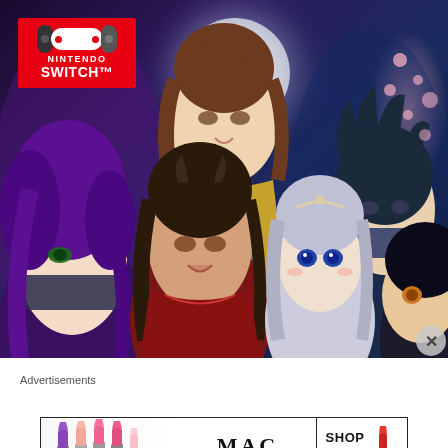[Figure (illustration): Nintendo Switch game cover art featuring multiple anime-style characters against a dark purple/blue moonlit background with cherry blossoms. Characters include multiple male figures with colorful hair and traditional Japanese-inspired clothing, and one female character with silver hair. Nintendo Switch logo in red box in upper left corner.]
Advertisements
[Figure (photo): MAC cosmetics advertisement banner showing colorful lipsticks on the left, MAC logo in the center, and a 'SHOP NOW' button on the right with a red lipstick.]